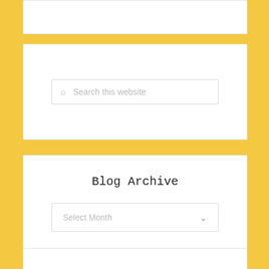[Figure (screenshot): Partial white card visible at top of page, cut off]
[Figure (screenshot): Search widget card with a search box containing placeholder text 'Search this website' and a search icon]
Blog Archive
[Figure (screenshot): Blog Archive widget card with a 'Select Month' dropdown selector]
[Figure (screenshot): Partial white card visible at bottom of page, cut off]